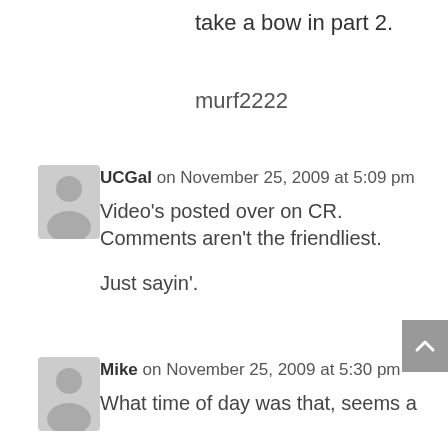take a bow in part 2.
murf2222
UCGal on November 25, 2009 at 5:09 pm
Video’s posted over on CR. Comments aren’t the friendliest.
Just sayin’.
Mike on November 25, 2009 at 5:30 pm
What time of day was that, seems a